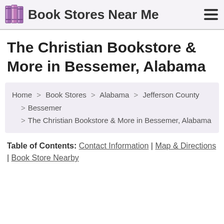Book Stores Near Me
The Christian Bookstore & More in Bessemer, Alabama
Home > Book Stores > Alabama > Jefferson County > Bessemer > The Christian Bookstore & More in Bessemer, Alabama
Table of Contents: Contact Information | Map & Directions | Book Store Nearby